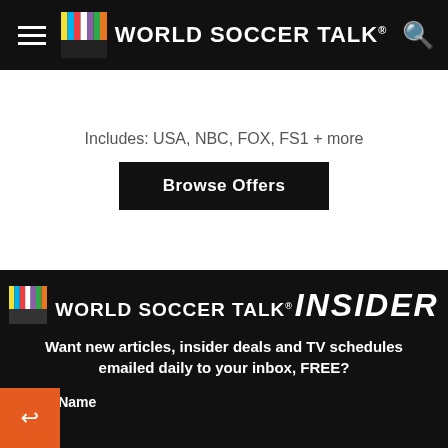World Soccer Talk
Includes: USA, NBC, FOX, FS1 + more
Browse Offers
[Figure (logo): World Soccer Talk Insider logo on dark background]
Want new articles, insider deals and TV schedules emailed daily to your inbox, FREE?
First Name